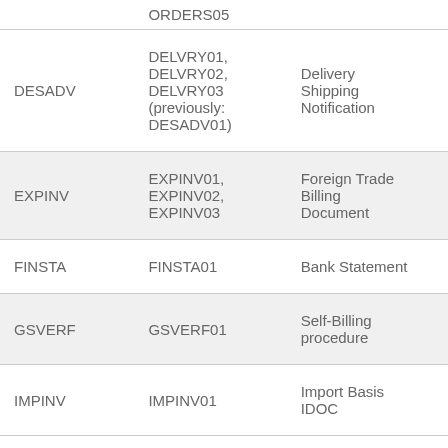|  | ORDERS05 |  |
| DESADV | DELVRY01, DELVRY02, DELVRY03 (previously: DESADV01) | Delivery Shipping Notification |
| EXPINV | EXPINV01, EXPINV02, EXPINV03 | Foreign Trade Billing Document |
| FINSTA | FINSTA01 | Bank Statement |
| GSVERF | GSVERF01 | Self-Billing procedure |
| IMPINV | IMPINV01 | Import Basis IDOC |